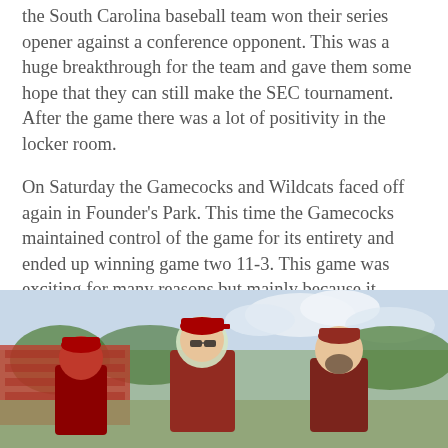the South Carolina baseball team won their series opener against a conference opponent. This was a huge breakthrough for the team and gave them some hope that they can still make the SEC tournament. After the game there was a lot of positivity in the locker room.
On Saturday the Gamecocks and Wildcats faced off again in Founder's Park. This time the Gamecocks maintained control of the game for its entirety and ended up winning game two 11-3. This game was exciting for many reasons but mainly because it secured the series against Kentucky. For the first time in 2019 we clinched a series against a conference opponent.
[Figure (photo): Photo showing three men wearing red baseball caps and clothing, appearing to be coaches or players having a conversation outdoors at a baseball park, with stadium seating and trees visible in the background.]